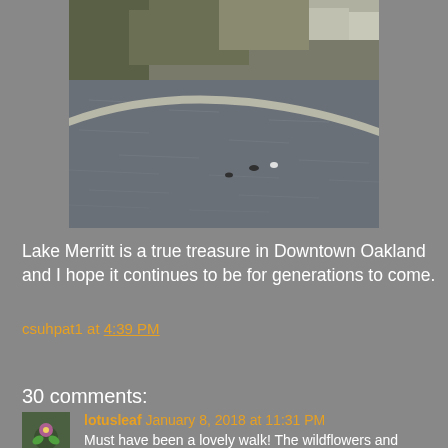[Figure (photo): Aerial or elevated view of Lake Merritt in Oakland showing a curved concrete seawall, dark grey water with birds swimming, trees and buildings in the background.]
Lake Merritt is a true treasure in Downtown Oakland and I hope it continues to be for generations to come.
csuhpat1 at 4:39 PM
Share
30 comments:
lotusleaf January 8, 2018 at 11:31 PM
Must have been a lovely walk! The wildflowers and birds…